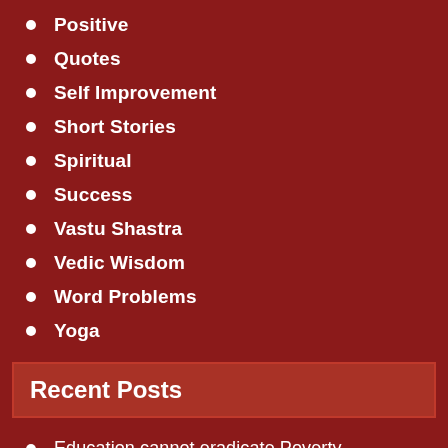Positive
Quotes
Self Improvement
Short Stories
Spiritual
Success
Vastu Shastra
Vedic Wisdom
Word Problems
Yoga
Recent Posts
Education cannot eradicate Poverty
Things , You got to teach your Kid.
Ritu sandhi and Navratra 2